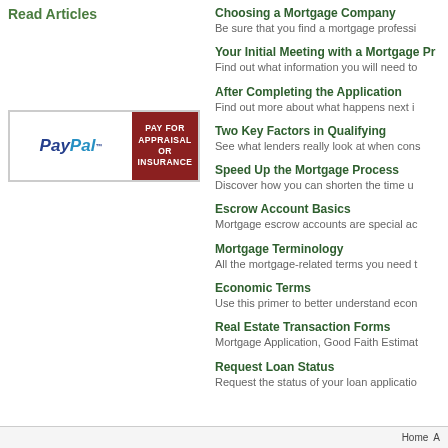Read Articles
[Figure (logo): PayPal logo with 'PAY FOR APPRAISAL OR INSURANCE' text on dark red background]
Choosing a Mortgage Company — Be sure that you find a mortgage professi...
Your Initial Meeting with a Mortgage Pr... — Find out what information you will need to...
After Completing the Application — Find out more about what happens next i...
Two Key Factors in Qualifying — See what lenders really look at when cons...
Speed Up the Mortgage Process — Discover how you can shorten the time u...
Escrow Account Basics — Mortgage escrow accounts are special ac...
Mortgage Terminology — All the mortgage-related terms you need t...
Economic Terms — Use this primer to better understand econ...
Real Estate Transaction Forms — Mortgage Application, Good Faith Estimat...
Request Loan Status — Request the status of your loan applicatio...
Home A...